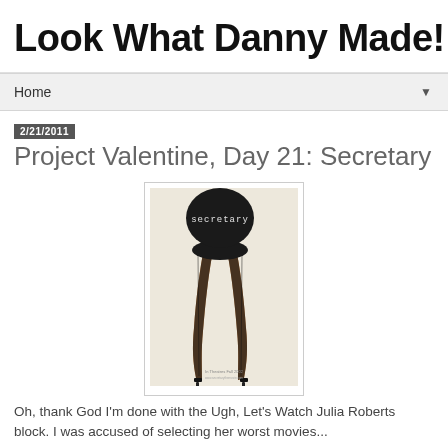Look What Danny Made!
Home
2/21/2011
Project Valentine, Day 21: Secretary
[Figure (photo): Movie poster for 'Secretary' showing a woman's legs in stockings and high heels from behind, with a black circle at the top containing the word 'secretary' in typewriter font. Text at bottom reads 'In Theatres Fall 2002'.]
Oh, thank God I'm done with the Ugh, Let's Watch Julia Roberts block. I was accused of selecting her worst movies...